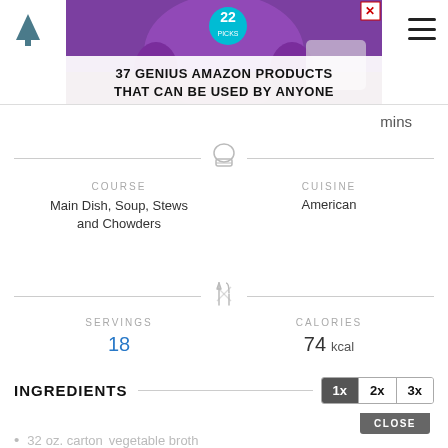[Figure (screenshot): Advertisement banner: '37 GENIUS AMAZON PRODUCTS THAT CAN BE USED BY ANYONE' with purple headphones image and a teal badge with '22'. Close button (X) in red top-right corner.]
mins
COURSE
Main Dish, Soup, Stews and Chowders
CUISINE
American
SERVINGS
18
CALORIES
74  kcal
INGREDIENTS
32  oz. carton  vegetable broth
2  qts.  water
2  cups  red potatoes  unpeeled, diced